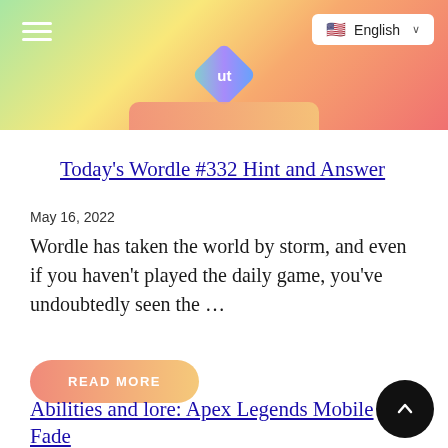[Figure (screenshot): Website header bar with gradient background (green to yellow to orange to red), hamburger menu icon on left, diamond-shaped logo with 'ut' in center, English language selector button with US flag on top right]
Today's Wordle #332 Hint and Answer
May 16, 2022
Wordle has taken the world by storm, and even if you haven't played the daily game, you've undoubtedly seen the ...
READ MORE
Abilities and lore: Apex Legends Mobile Fade
May 16, 2022